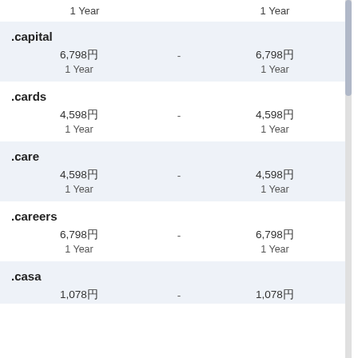1 Year    1 Year
.capital
6,798円  -  6,798円
1 Year    1 Year
.cards
4,598円  -  4,598円
1 Year    1 Year
.care
4,598円  -  4,598円
1 Year    1 Year
.careers
6,798円  -  6,798円
1 Year    1 Year
.casa
1,078円  -  1,078円